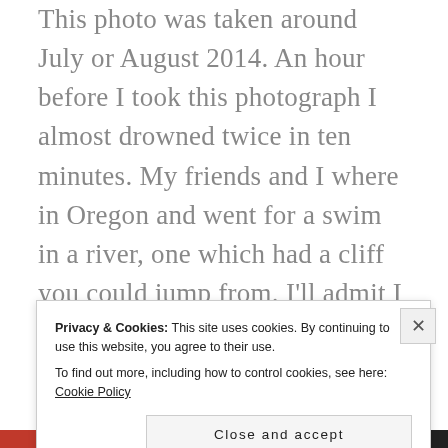This photo was taken around July or August 2014. An hour before I took this photograph I almost drowned twice in ten minutes. My friends and I where in Oregon and went for a swim in a river, one which had a cliff you could jump from. I'll admit I was a bit too drunk and did not think much of my own swimming skills, and jumped in. It was fine until my arms felt heavy; I started to panic and began to sink. That's when my best friend, Thibault, came to
Privacy & Cookies: This site uses cookies. By continuing to use this website, you agree to their use.
To find out more, including how to control cookies, see here: Cookie Policy
Close and accept